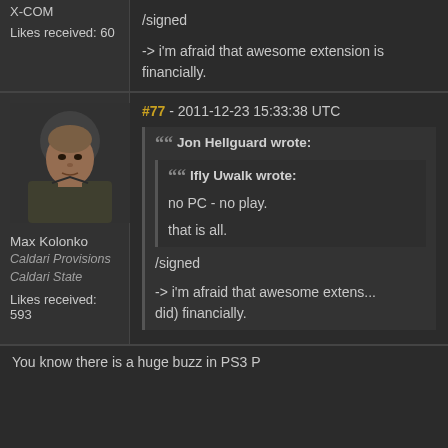X-COM
Likes received: 60
/signed
-> i'm afraid that awesome extension is financially.
[Figure (photo): Avatar image of Max Kolonko, a bald man in a military-style jacket]
Max Kolonko
Caldari Provisions
Caldari State
Likes received: 593
#77 - 2011-12-23 15:33:38 UTC
Jon Hellguard wrote:
  Ifly Uwalk wrote:
    no PC - no play.
    that is all.
/signed
-> i'm afraid that awesome extens... did) financially.
You know there is a huge buzz in PS3 P